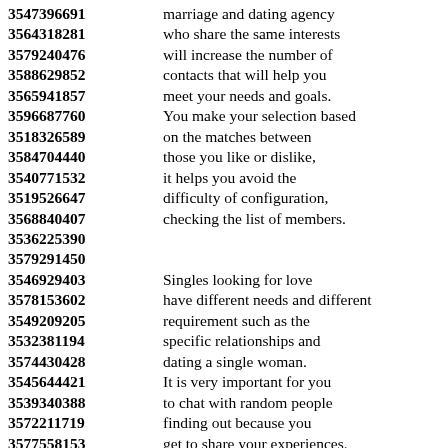3547396691 marriage and dating agency
3564318281 who share the same interests
3579240476 will increase the number of
3588629852 contacts that will help you
3565941857 meet your needs and goals.
3596687760 You make your selection based
3518326589 on the matches between
3584704440 those you like or dislike,
3540771532 it helps you avoid the
3519526647 difficulty of configuration,
3568840407 checking the list of members.
3536225390
3579291450
3546929403 Singles looking for love
3578153602 have different needs and different
3549209205 requirement such as the
3532381194 specific relationships and
3574430428 dating a single woman.
3545644421 It is very important for you
3539340388 to chat with random people
3572211719 finding out because you
3577558153 get to share your experiences.
3564181684 It feels good when you
3584495767 just because you connect
3521857741 with a woman who likes